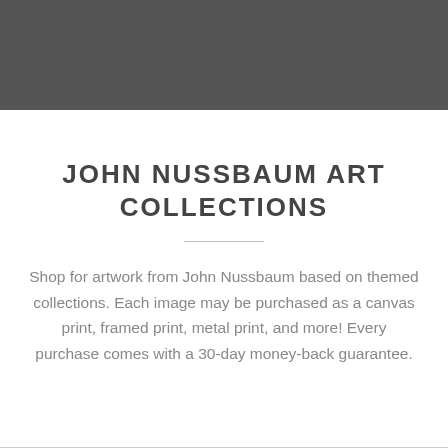[Figure (other): Dark gray header banner spanning full page width]
JOHN NUSSBAUM ART COLLECTIONS
Shop for artwork from John Nussbaum based on themed collections. Each image may be purchased as a canvas print, framed print, metal print, and more! Every purchase comes with a 30-day money-back guarantee.